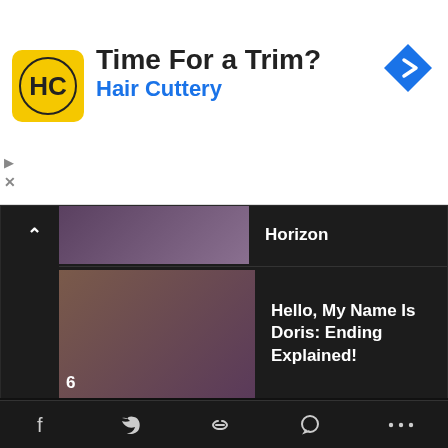[Figure (screenshot): Ad banner: Hair Cuttery advertisement with logo showing HC letters, text 'Time For a Trim?' and 'Hair Cuttery' in blue, and a blue diamond navigation arrow icon]
Horizon
Hello, My Name Is Doris: Ending Explained!
You May Also Like
Who Kills Akaza From Kimetsu No Yaiba?
f  [twitter]  [link]  [comment]  ...